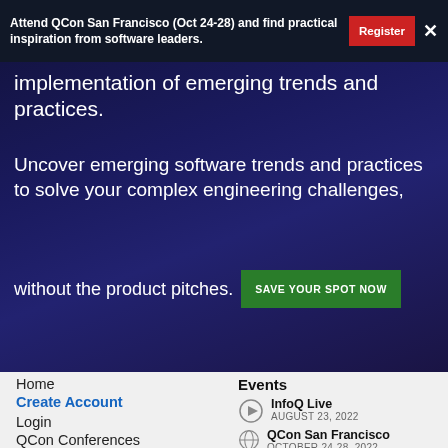Attend QCon San Francisco (Oct 24-28) and find practical inspiration from software leaders. Register ×
implementation of emerging trends and practices.
Uncover emerging software trends and practices to solve your complex engineering challenges,
without the product pitches. SAVE YOUR SPOT NOW
Home
Create Account
Login
QCon Conferences
NEW Events
Write For InfoQ
Events
InfooQ Live AUGUST 23, 2022
QCon San Francisco OCTOBER 24-28, 2022
QCon Plus NOVEMBER 29 - DECEMBER 9, 2022